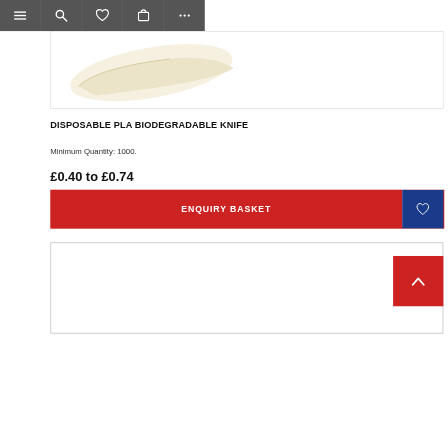Navigation bar with menu, search, wishlist, basket, and more icons
[Figure (photo): Partial view of a disposable PLA biodegradable knife on white background, showing the cream/ivory colored plastic knife handle and partial blade from the left side]
DISPOSABLE PLA BIODEGRADABLE KNIFE
Minimum Quantity: 1000.
£0.40 to £0.74
ENQUIRY BASKET
[Figure (photo): Bottom partial image area - white/empty product image area beginning to show at the bottom of the page]
[Figure (other): Red scroll-to-top button with white upward chevron arrow in the bottom-right corner]